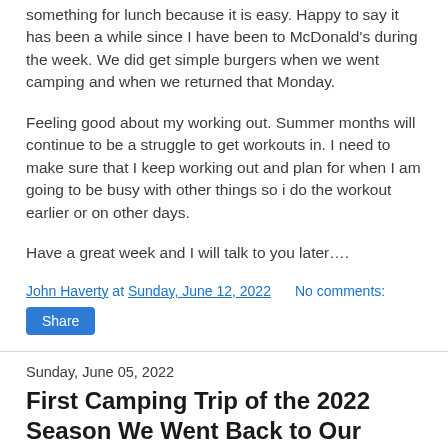something for lunch because it is easy. Happy to say it has been a while since I have been to McDonald's during the week. We did get simple burgers when we went camping and when we returned that Monday.
Feeling good about my working out. Summer months will continue to be a struggle to get workouts in. I need to make sure that I keep working out and plan for when I am going to be busy with other things so i do the workout earlier or on other days.
Have a great week and I will talk to you later….
John Haverty at Sunday, June 12, 2022    No comments:
Share
Sunday, June 05, 2022
First Camping Trip of the 2022 Season We Went Back to Our Favorite